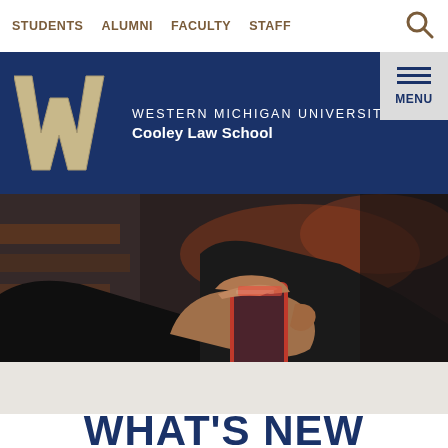STUDENTS  ALUMNI  FACULTY  STAFF
[Figure (logo): Western Michigan University Cooley Law School logo with large W and school name on navy blue background, with hamburger menu button]
[Figure (photo): Close-up photo of hands holding a smartphone, dark background with blurred library shelves]
WHAT'S NEW